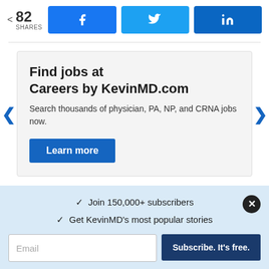[Figure (infographic): Social share bar showing 82 shares with Facebook, Twitter, and LinkedIn share buttons]
[Figure (infographic): Advertisement card: Find jobs at Careers by KevinMD.com. Search thousands of physician, PA, NP, and CRNA jobs now. Learn more button. Left and right navigation arrows.]
✓ Join 150,000+ subscribers
✓ Get KevinMD's most popular stories
Email
Subscribe. It's free.